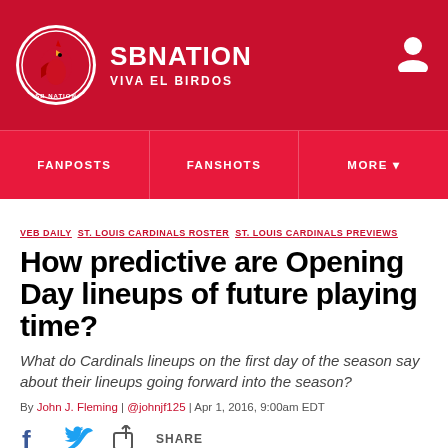SBNATION VIVA EL BIRDOS
FANPOSTS  FANSHOTS  MORE
VEB DAILY ST. LOUIS CARDINALS ROSTER ST. LOUIS CARDINALS PREVIEWS
How predictive are Opening Day lineups of future playing time?
What do Cardinals lineups on the first day of the season say about their lineups going forward into the season?
By John J. Fleming | @johnjf125 | Apr 1, 2016, 9:00am EDT
SHARE